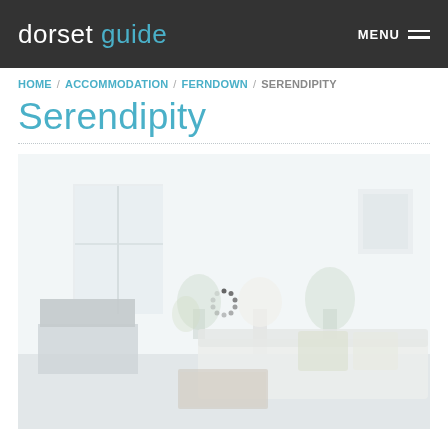dorset guide | MENU
HOME / ACCOMMODATION / FERNDOWN / SERENDIPITY
Serendipity
[Figure (photo): Interior photo of a bright living room with white sofa, cushions, plants, lamp, TV unit and wall art. Image appears faded/loading with a spinner overlay visible.]